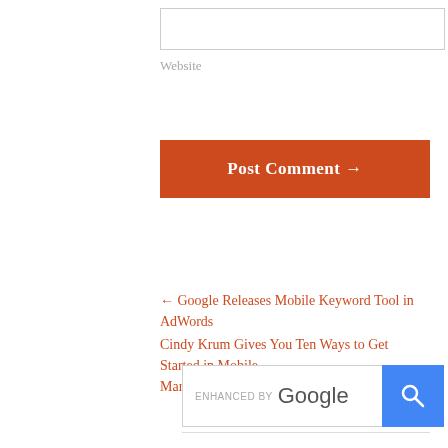Website
Post Comment →
← Google Releases Mobile Keyword Tool in AdWords
Cindy Krum Gives You Ten Ways to Get Started in Mobile Marketing →
[Figure (screenshot): Enhanced by Google search bar with blue search button containing magnifying glass icon]
[Figure (photo): Professional headshot of a smiling man in a dark suit with blue shirt, against a dark grey background]